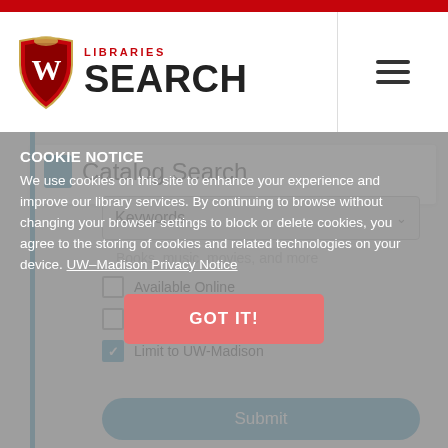[Figure (logo): UW-Madison Libraries Search logo with red shield W and LIBRARIES SEARCH text]
Catalog Search
COOKIE NOTICE
We use cookies on this site to enhance your experience and improve our library services. By continuing to browse without changing your browser settings to block or delete cookies, you agree to the storing of cookies and related technologies on your device. UW–Madison Privacy Notice
Keywords
Books, music, movies, and more
Available Online
Print/Physical Items
Limit to UW-Madison
GOT IT!
Submit